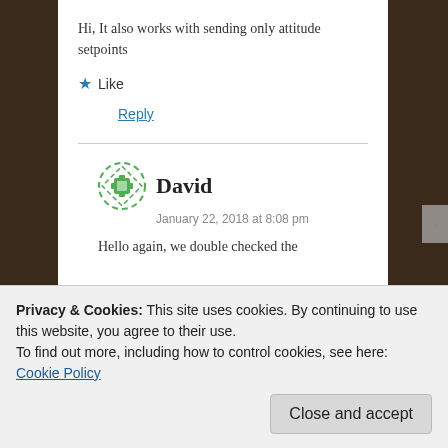Hi, It also works with sending only attitude setpoints
★ Like
Reply
David
January 22, 2018 at 8:08 pm
Hello again, we double checked the
Privacy & Cookies: This site uses cookies. By continuing to use this website, you agree to their use.
To find out more, including how to control cookies, see here: Cookie Policy
Close and accept